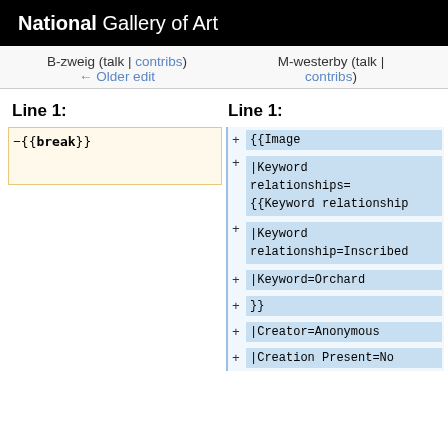National Gallery of Art
B-zweig (talk | contribs)
← Older edit
M-westerby (talk | contribs)
Line 1:
Line 1:
−{{break}}
+{{Image
+|Keyword relationships=
 {{Keyword relationship
+|Keyword relationship=Inscribed
+|Keyword=Orchard
+}}
+|Creator=Anonymous
+|Creation Present=No